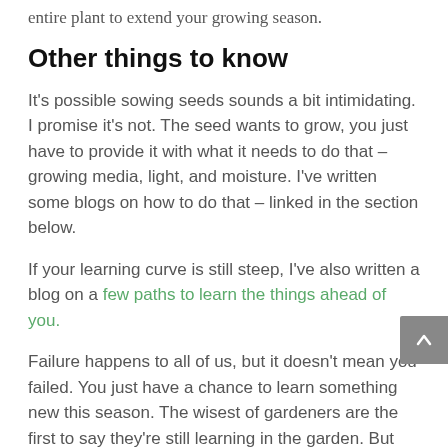entire plant to extend your growing season.
Other things to know
It's possible sowing seeds sounds a bit intimidating. I promise it's not. The seed wants to grow, you just have to provide it with what it needs to do that – growing media, light, and moisture. I've written some blogs on how to do that – linked in the section below.
If your learning curve is still steep, I've also written a blog on a few paths to learn the things ahead of you.
Failure happens to all of us, but it doesn't mean you failed. You just have a chance to learn something new this season. The wisest of gardeners are the first to say they're still learning in the garden. But these crops are the ones I generally have the fewest issues with, and the